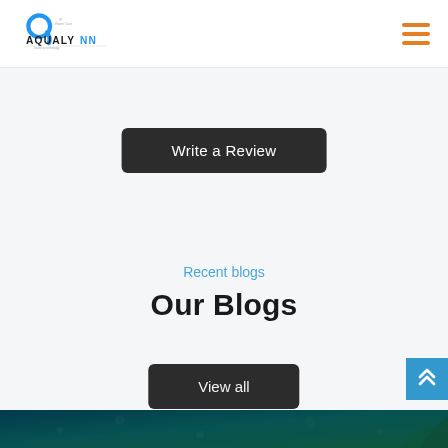[Figure (logo): Aqualynn logo with blue 'a' icon and text AQUALYNN with tagline]
[Figure (illustration): Hamburger menu icon with three orange horizontal bars]
Write a Review
Recent blogs
Our Blogs
View all
[Figure (illustration): Blue scroll-to-top button with double chevron arrows]
[Figure (photo): Blog image strip showing dark teal/green underwater or pool scene]